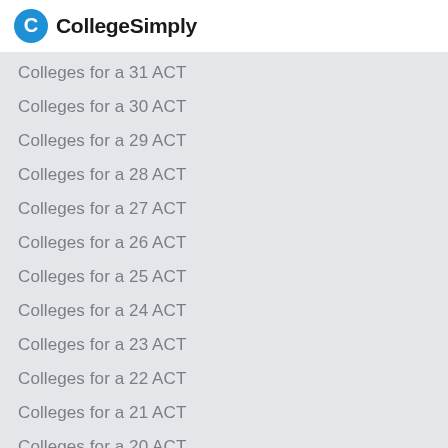CollegeSimply
Colleges for a 31 ACT
Colleges for a 30 ACT
Colleges for a 29 ACT
Colleges for a 28 ACT
Colleges for a 27 ACT
Colleges for a 26 ACT
Colleges for a 25 ACT
Colleges for a 24 ACT
Colleges for a 23 ACT
Colleges for a 22 ACT
Colleges for a 21 ACT
Colleges for a 20 ACT
Colleges for a 19 ACT
Colleges for a 18 ACT
Colleges that accept low ACT scores